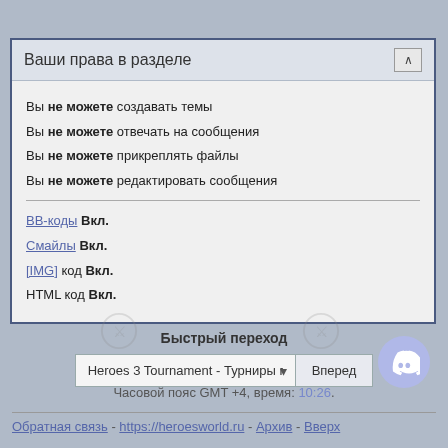Ваши права в разделе
Вы не можете создавать темы
Вы не можете отвечать на сообщения
Вы не можете прикреплять файлы
Вы не можете редактировать сообщения
BB-коды Вкл.
Смайлы Вкл.
[IMG] код Вкл.
HTML код Вкл.
Быстрый переход
Heroes 3 Tournament - Турниры по
Часовой пояс GMT +4, время: 10:26.
Обратная связь - https://heroesworld.ru - Архив - Вверх